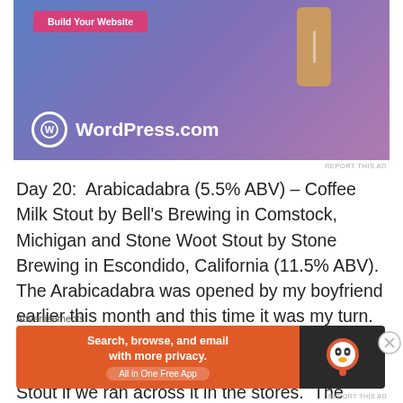[Figure (screenshot): WordPress.com advertisement banner with blue-purple gradient background, 'Build Your Website' pink button, a phone/device graphic, and WordPress.com logo with text]
REPORT THIS AD
Day 20:  Arabicadabra (5.5% ABV) – Coffee Milk Stout by Bell's Brewing in Comstock, Michigan and Stone Woot Stout by Stone Brewing in Escondido, California (11.5% ABV).  The Arabicadabra was opened by my boyfriend earlier this month and this time it was my turn.  It is an OK coffee milk stout.  Most likely would not pick up one of these or the Stone Woot Stout if we ran across it in the stores.  The Stone Woot Stout is an
Advertisements
[Figure (screenshot): DuckDuckGo advertisement: orange background with text 'Search, browse, and email with more privacy. All in One Free App' and DuckDuckGo logo on dark right side]